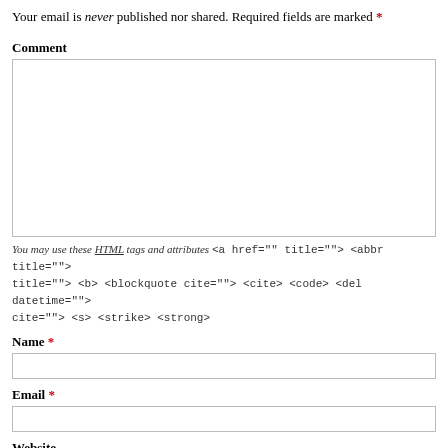Your email is never published nor shared. Required fields are marked *
Comment
You may use these HTML tags and attributes <a href="" title=""> <abbr title=""> title=""> <b> <blockquote cite=""> <cite> <code> <del datetime=""> cite=""> <s> <strike> <strong>
Name *
Email *
Website
Save my name, email, and website in this browser for the next time I comment.